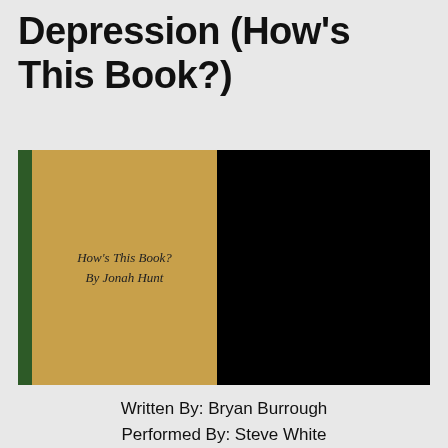Depression (How's This Book?)
[Figure (illustration): Composite image showing two book covers side by side on a black background: left side shows an olive/tan colored book cover reading 'How's This Book? By Jonah Hunt' in italic; right side shows Audible Original audiobook cover for 'The Demon Next Door' by Bryan Burrough, with a black-and-white church image and red/white text, plus an 'Only From Audible' badge.]
Written By: Bryan Burrough
Performed By: Steve White
Run Time: 2 Hours, 45 Minutes